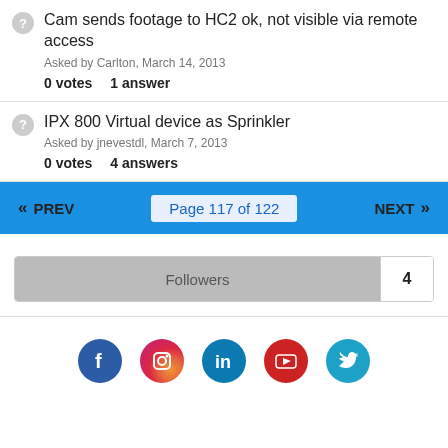Cam sends footage to HC2 ok, not visible via remote access
Asked by Carlton, March 14, 2013
0 votes  1 answer
IPX 800 Virtual device as Sprinkler
Asked by jnevestdl, March 7, 2013
0 votes  4 answers
« PREV   Page 117 of 122   NEXT »
Followers  4
[Figure (infographic): Social media icons: Facebook, Instagram, LinkedIn, YouTube, Twitter]